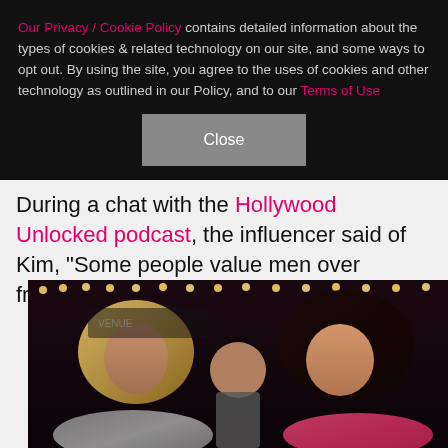Our Privacy / Cookie Policy contains detailed information about the types of cookies & related technology on our site, and some ways to opt out. By using the site, you agree to the uses of cookies and other technology as outlined in our Policy, and to our Terms of Use
Close
During a chat with the Hollywood Unlocked podcast, the influencer said of Kim, "Some people value men over friends."
[Figure (photo): Two women standing together at what appears to be a nightclub or event venue with lights in the background. The woman on the left has long blonde hair and is wearing a sparkly outfit. The woman on the right has long dark wet-look hair and is wearing a pink outfit.]